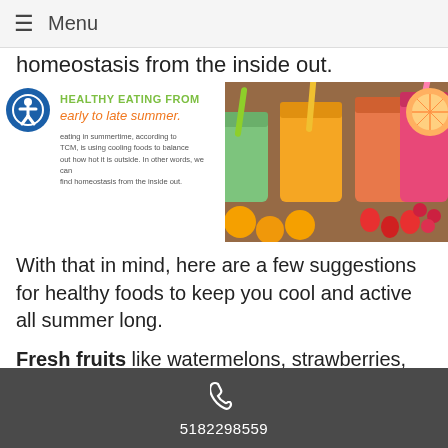≡ Menu
homeostasis from the inside out.
[Figure (photo): Banner showing colorful fresh fruit smoothies in mason jars with straws, surrounded by oranges, kiwi, strawberries and other fruits on a wooden surface. Left side has text overlay: 'HEALTHY EATING FROM early to late summer.' with small body text below about eating in summertime using cooling foods.]
With that in mind, here are a few suggestions for healthy foods to keep you cool and active all summer long.
Fresh fruits like watermelons, strawberries, tomatoes and pear are cooling and have strong yin energy. Summer meals should be predominately fresh fruits or vegetables, according to TCM. These food groups have
5182298559